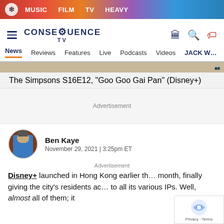MUSIC  FILM  TV  HEAVY
[Figure (logo): Consequence TV logo with hamburger menu and icons]
News  Reviews  Features  Live  Podcasts  Videos  JACK W...
The Simpsons S16E12, "Goo Goo Gai Pan" (Disney+)
Advertisement
[Figure (photo): Author avatar photo of Ben Kaye]
Ben Kaye
November 29, 2021 | 3:25pm ET
Advertisement
Disney+ launched in Hong Kong earlier this month, finally giving the city's residents access to all its various IPs. Well, almost all of them; it